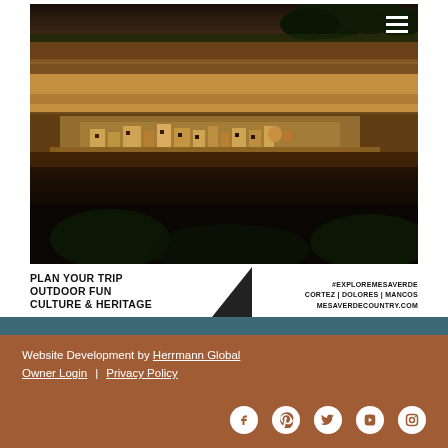[Figure (photo): Aerial/dramatic photograph of ancient cliff dwellings (Mesa Verde National Park) built into a sandstone cliff face, with trees visible at the top. Image is dark/golden toned. A hamburger menu icon appears in the top right corner of the image.]
PLAN YOUR TRIP
OUTDOOR FUN
CULTURE & HERITAGE
#EXPLOREMESAVERDE
CORTEZ | DOLORES | MANCOS
MESAVERDECOUNTRY.COM
Website Development by Herrmann Global
Owner Login  |  Privacy Policy